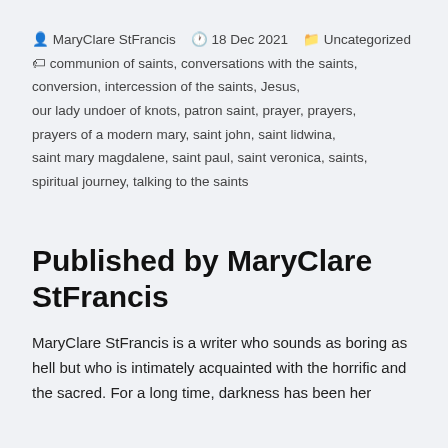MaryClare StFrancis  18 Dec 2021  Uncategorized  communion of saints, conversations with the saints, conversion, intercession of the saints, Jesus, our lady undoer of knots, patron saint, prayer, prayers, prayers of a modern mary, saint john, saint lidwina, saint mary magdalene, saint paul, saint veronica, saints, spiritual journey, talking to the saints
Published by MaryClare StFrancis
MaryClare StFrancis is a writer who sounds as boring as hell but who is intimately acquainted with the horrific and the sacred. For a long time, darkness has been her